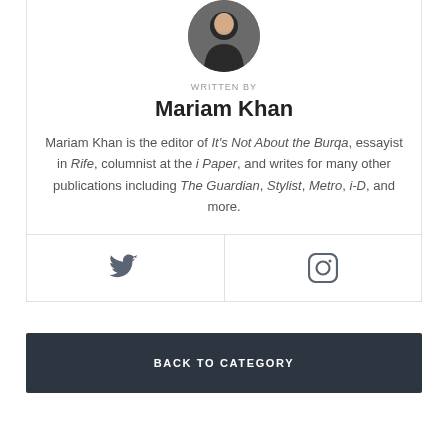[Figure (photo): Circular profile photo of Mariam Khan wearing a black hijab]
WRITTEN BY
Mariam Khan
Mariam Khan is the editor of It's Not About the Burqa, essayist in Rife, columnist at the i Paper, and writes for many other publications including The Guardian, Stylist, Metro, i-D, and more.
[Figure (illustration): Twitter bird icon]
[Figure (illustration): Instagram camera icon]
BACK TO CATEGORY